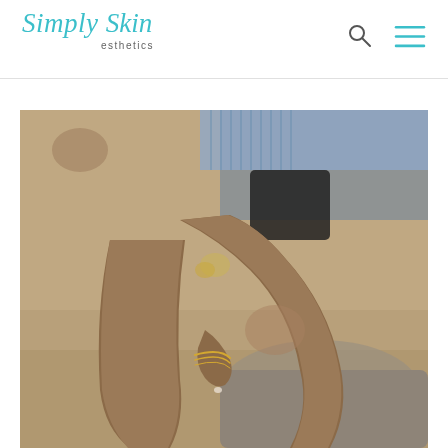Simply Skin esthetics
[Figure (photo): A person sitting with crossed legs visible from mid-thigh down, wearing plaid shorts and a light blue striped top. The person has tanned skin and is wearing a gold bracelet. They are seated on what appears to be a stone surface in an outdoor setting.]